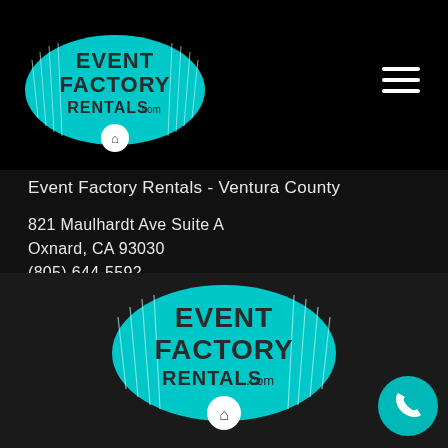[Figure (logo): Event Factory Rentals logo — teal oval with white grid lines on sides, dark text reading EVENT FACTORY RENTALS.com, small house badge below]
Event Factory Rentals - Ventura County
821 Maulhardt Ave Suite A
Oxnard, CA 93030
(805) 644-5592
[Figure (logo): Facebook logo icon — white letter f on blue square]
[Figure (logo): Yelp logo icon — white burst/flower on red square]
[Figure (logo): Event Factory Rentals logo (large, bottom) — teal oval with white grid lines, dark text EVENT FACTORY RENTALS.com, house badge below]
[Figure (other): Teal circular phone button with white phone handset icon]